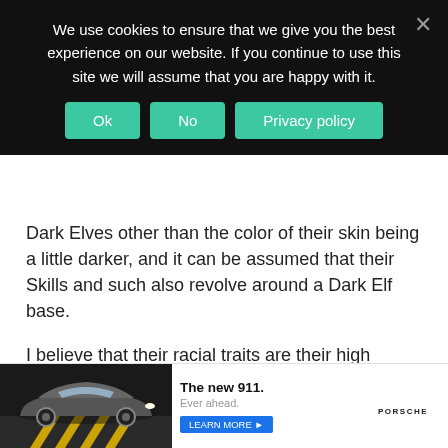We use cookies to ensure that we give you the best experience on our website. If you continue to use this site we will assume that you are happy with it.
Dark Elves other than the color of their skin being a little darker, and it can be assumed that their Skills and such also revolve around a Dark Elf base.
I believe that their racial traits are their high regenerative capabilities and exceptional Vitality.
I also believe that the entire race possesses a Unique Skill called Chaos. It is a Skill that allows the user to transform their body, and although the forms and types of transformation vary from individual to individual, it is a powerful Skill that allows the user to gain Skills that
[Figure (screenshot): Advertisement banner for Porsche 911 with car image on left, 'The new 911. Ever ahead. LEARN MORE' text in center, and Porsche logo on right]